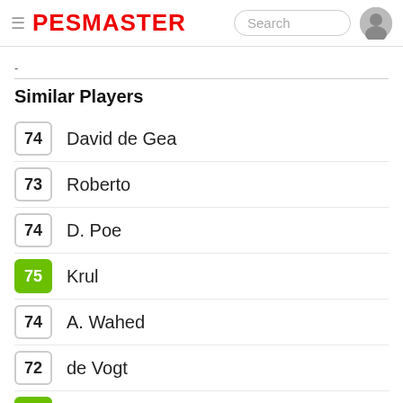PESMASTER
-
Similar Players
74 David de Gea
73 Roberto
74 D. Poe
75 Krul
74 A. Wahed
72 de Vogt
75 M. Machado
72 Cernea
74 V. Gabulov
74 Bosco